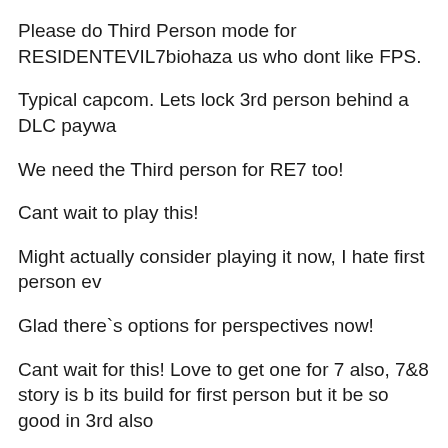Please do Third Person mode for RESIDENTEVIL7biohaza us who dont like FPS.
Typical capcom. Lets lock 3rd person behind a DLC paywa
We need the Third person for RE7 too!
Cant wait to play this!
Might actually consider playing it now, I hate first person ev
Glad there`s options for perspectives now!
Cant wait for this! Love to get one for 7 also, 7&8 story is b its build for first person but it be so good in 3rd also
Not going to lie. I thought that was Hogwarts at first.
runs better on xbox as usual and also we have chicken win
Mad hyped for this